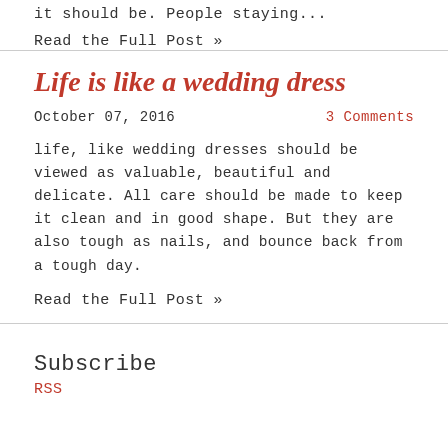it should be. People staying...
Read the Full Post »
Life is like a wedding dress
October 07, 2016
3 Comments
life, like wedding dresses should be viewed as valuable, beautiful and delicate. All care should be made to keep it clean and in good shape. But they are also tough as nails, and bounce back from a tough day.
Read the Full Post »
Subscribe
RSS